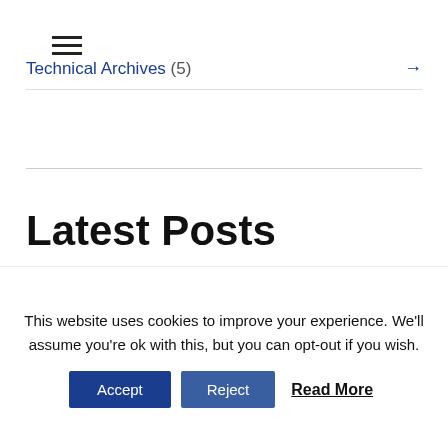[Figure (other): Hamburger menu icon (three horizontal lines)]
Technical Archives (5) →
Latest Posts
Cyber Round-up for 2nd September
September 1, 2022
This website uses cookies to improve your experience. We'll assume you're ok with this, but you can opt-out if you wish.
Accept  Reject  Read More